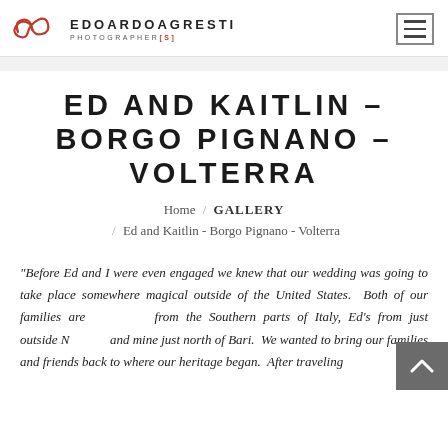EDOARDO AGRESTI PHOTOGRAPHER[S]
ED AND KAITLIN – BORGO PIGNANO – VOLTERRA
Home / GALLERY / Ed and Kaitlin - Borgo Pignano - Volterra
"Before Ed and I were even engaged we knew that our wedding was going to take place somewhere magical outside of the United States.  Both of our families are from the Southern parts of Italy, Ed's from just outside Naples and mine just north of Bari.  We wanted to bring our families and friends back to where our heritage began.  After traveling